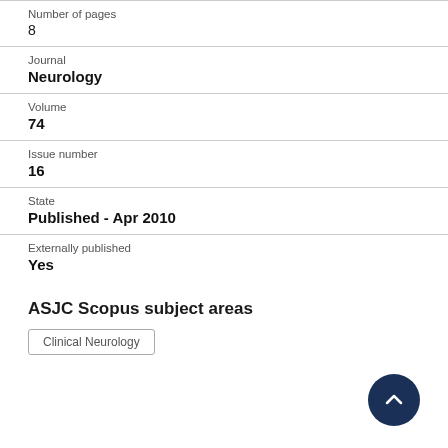Number of pages
8
Journal
Neurology
Volume
74
Issue number
16
State
Published - Apr 2010
Externally published
Yes
ASJC Scopus subject areas
Clinical Neurology